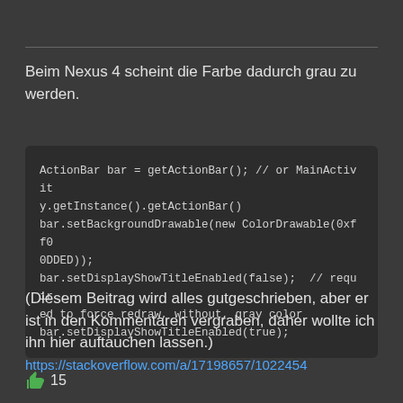Beim Nexus 4 scheint die Farbe dadurch grau zu werden.
ActionBar bar = getActionBar(); // or MainActivity.getInstance().getActionBar()
bar.setBackgroundDrawable(new ColorDrawable(0xff00DDED));
bar.setDisplayShowTitleEnabled(false);  // required to force redraw, without, gray color
bar.setDisplayShowTitleEnabled(true);
(Diesem Beitrag wird alles gutgeschrieben, aber er ist in den Kommentaren vergraben, daher wollte ich ihn hier auftauchen lassen.)
https://stackoverflow.com/a/17198657/1022454
15